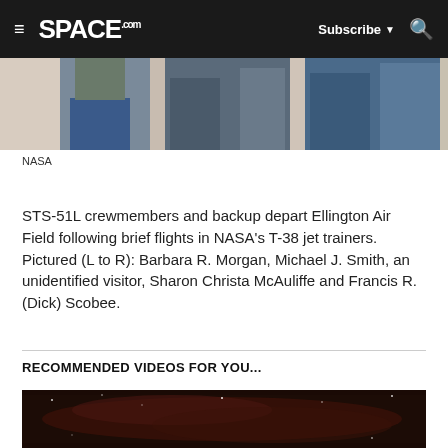≡  SPACE.com    Subscribe ▼  🔍
[Figure (photo): Partial view of people standing, cropped at the top of the page]
NASA
STS-51L crewmembers and backup depart Ellington Air Field following brief flights in NASA's T-38 jet trainers. Pictured (L to R): Barbara R. Morgan, Michael J. Smith, an unidentified visitor, Sharon Christa McAuliffe and Francis R. (Dick) Scobee.
RECOMMENDED VIDEOS FOR YOU...
[Figure (photo): Dark space/nebula image used as video thumbnail]